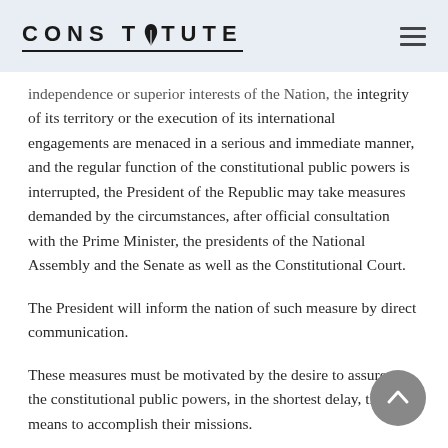CONSTITUTE
independence or superior interests of the Nation, the integrity of its territory or the execution of its international engagements are menaced in a serious and immediate manner, and the regular function of the constitutional public powers is interrupted, the President of the Republic may take measures demanded by the circumstances, after official consultation with the Prime Minister, the presidents of the National Assembly and the Senate as well as the Constitutional Court.
The President will inform the nation of such measure by direct communication.
These measures must be motivated by the desire to assure to the constitutional public powers, in the shortest delay, the means to accomplish their missions.